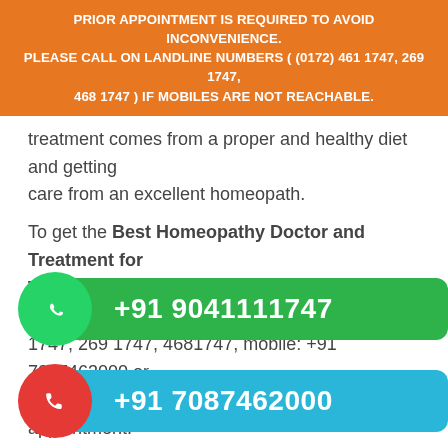PRIOR APPOINTMENT IS REQUIRED TO AVOID INCONVENIENCE. PLEASE CALL ON LANDLINE NUMBERS ( (0172) 461 1747, 269 1747, 468 1747 ) IF MOBILES ARE NOT REACHABLE.
treatment comes from a proper and healthy diet and getting care from an excellent homeopath.
To get the Best Homeopathy Doctor and Treatment for Thyroid in Jalandhar call us at our landline number: (0172) 461 1747, 269 1747, 4681747, mobile: +91 7087463000 or WhatsApp: +91 7087462000 and schedule an appointment.
[Figure (infographic): WhatsApp green icon with green phone bar showing +91 9041111747]
[Figure (infographic): Red phone icon with blue phone bar showing +91 7087462000]